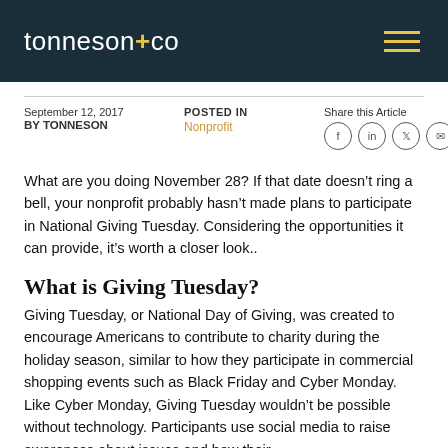tonneson+co
September 12, 2017
BY TONNESON
POSTED IN
Nonprofit
Share this Article
What are you doing November 28? If that date doesn’t ring a bell, your nonprofit probably hasn’t made plans to participate in National Giving Tuesday. Considering the opportunities it can provide, it’s worth a closer look..
What is Giving Tuesday?
Giving Tuesday, or National Day of Giving, was created to encourage Americans to contribute to charity during the holiday season, similar to how they participate in commercial shopping events such as Black Friday and Cyber Monday. Like Cyber Monday, Giving Tuesday wouldn’t be possible without technology. Participants use social media to raise awareness about issues and how their